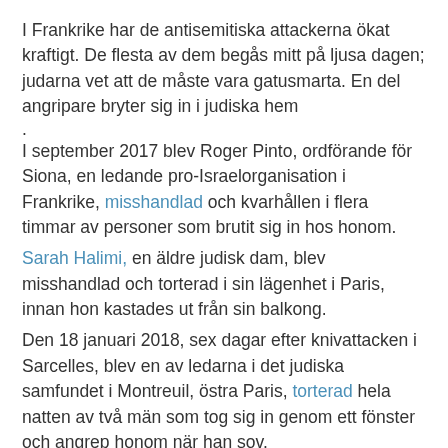I Frankrike har de antisemitiska attackerna ökat kraftigt. De flesta av dem begås mitt på ljusa dagen; judarna vet att de måste vara gatusmarta. En del angripare bryter sig in i judiska hem
.
I september 2017 blev Roger Pinto, ordförande för Siona, en ledande pro-Israelorganisation i Frankrike, misshandlad och kvarhållen i flera timmar av personer som brutit sig in hos honom.
Sarah Halimi, en äldre judisk dam, blev misshandlad och torterad i sin lägenhet i Paris, innan hon kastades ut från sin balkong.
Den 18 januari 2018, sex dagar efter knivattacken i Sarcelles, blev en av ledarna i det judiska samfundet i Montreuil, östra Paris, torterad hela natten av två män som tog sig in genom ett fönster och angrep honom när han sov.
Graffitti på judiskt ägda hem uppmanar ägarna att "fly omedelbart" om de vill överleva. Anonyma brev laddade patroner hamnar i brevlådan hos judar, med meddelanden om att nästa kula kommer att skjutas i mottagarens huvud.